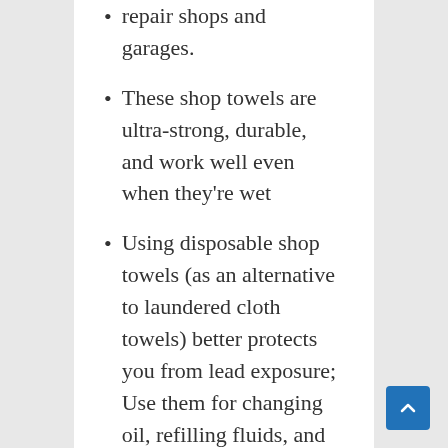repair shops and garages.
These shop towels are ultra-strong, durable, and work well even when they're wet
Using disposable shop towels (as an alternative to laundered cloth towels) better protects you from lead exposure; Use them for changing oil, refilling fluids, and general automotive maintenance.